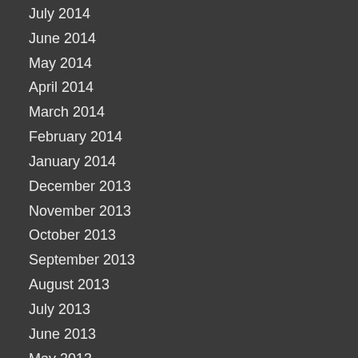July 2014
June 2014
May 2014
April 2014
March 2014
February 2014
January 2014
December 2013
November 2013
October 2013
September 2013
August 2013
July 2013
June 2013
May 2013
April 2013
March 2013
February 2013